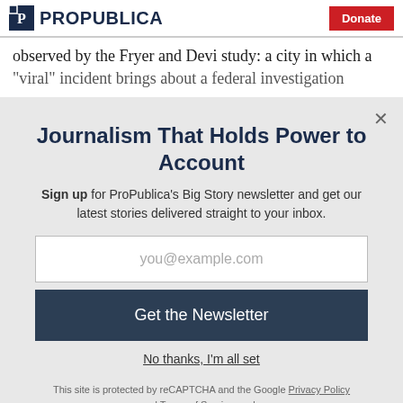ProPublica | Donate
observed by the Fryer and Devi study: a city in which a
“viral” incident brings about a federal investigation
Journalism That Holds Power to Account
Sign up for ProPublica’s Big Story newsletter and get our latest stories delivered straight to your inbox.
you@example.com
Get the Newsletter
No thanks, I’m all set
This site is protected by reCAPTCHA and the Google Privacy Policy and Terms of Service apply.